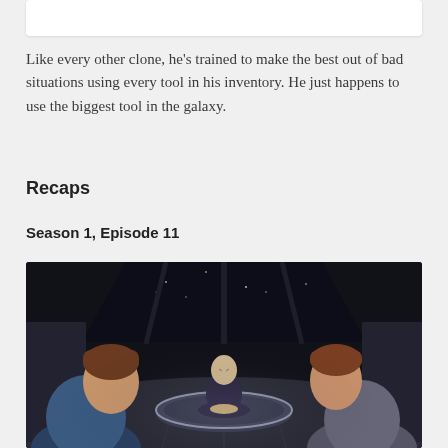[Figure (screenshot): Partial top of an image, cropped white/light colored box at the top of the page]
Like every other clone, he's trained to make the best out of bad situations using every tool in his inventory. He just happens to use the biggest tool in the galaxy.
Recaps
Season 1, Episode 11
[Figure (screenshot): Animated scene from Star Wars: The Clone Wars showing a bald figure seated cross-legged in meditation on a raised circular platform, flanked by two characters seen from behind in a darkened room with large windows showing space.]